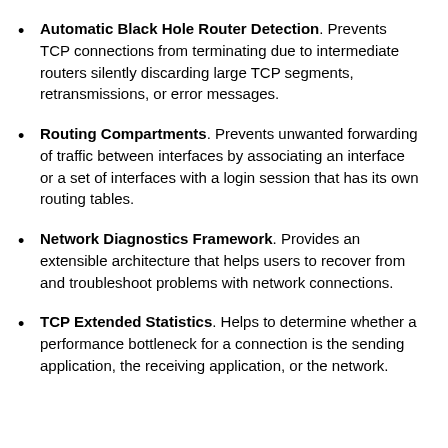Automatic Black Hole Router Detection. Prevents TCP connections from terminating due to intermediate routers silently discarding large TCP segments, retransmissions, or error messages.
Routing Compartments. Prevents unwanted forwarding of traffic between interfaces by associating an interface or a set of interfaces with a login session that has its own routing tables.
Network Diagnostics Framework. Provides an extensible architecture that helps users to recover from and troubleshoot problems with network connections.
TCP Extended Statistics. Helps to determine whether a performance bottleneck for a connection is the sending application, the receiving application, or the network.